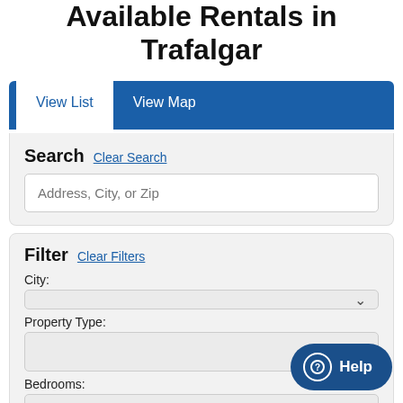Available Rentals in Trafalgar
View List | View Map
Search  Clear Search
Address, City, or Zip
Filter  Clear Filters
City:
Property Type:
Bedrooms: